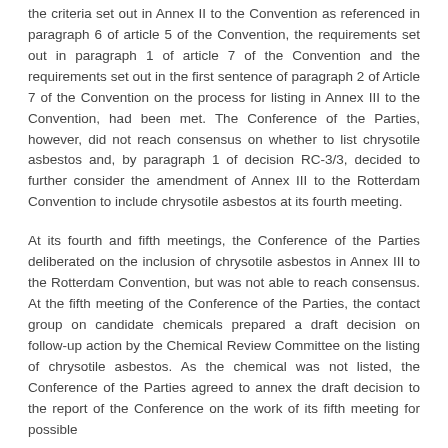the criteria set out in Annex II to the Convention as referenced in paragraph 6 of article 5 of the Convention, the requirements set out in paragraph 1 of article 7 of the Convention and the requirements set out in the first sentence of paragraph 2 of Article 7 of the Convention on the process for listing in Annex III to the Convention, had been met. The Conference of the Parties, however, did not reach consensus on whether to list chrysotile asbestos and, by paragraph 1 of decision RC-3/3, decided to further consider the amendment of Annex III to the Rotterdam Convention to include chrysotile asbestos at its fourth meeting.
At its fourth and fifth meetings, the Conference of the Parties deliberated on the inclusion of chrysotile asbestos in Annex III to the Rotterdam Convention, but was not able to reach consensus. At the fifth meeting of the Conference of the Parties, the contact group on candidate chemicals prepared a draft decision on follow-up action by the Chemical Review Committee on the listing of chrysotile asbestos. As the chemical was not listed, the Conference of the Parties agreed to annex the draft decision to the report of the Conference on the work of its fifth meeting for possible